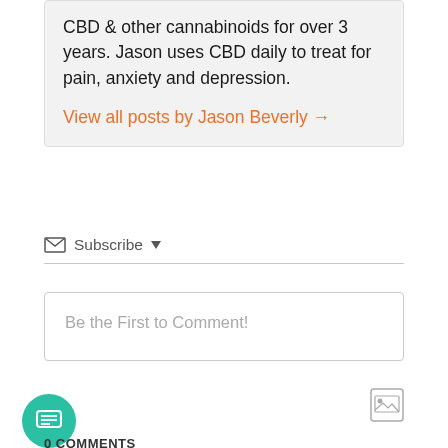CBD & other cannabinoids for over 3 years. Jason uses CBD daily to treat for pain, anxiety and depression.
View all posts by Jason Beverly →
Subscribe ▾
Be the First to Comment!
[Figure (other): Image attachment icon button]
[Figure (other): Chat/comment floating action button (teal circle with chat icon)]
0 COMMENTS